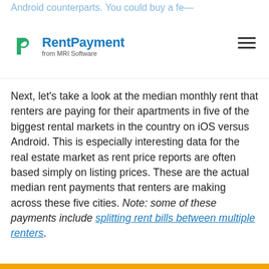RentPayment from MRI Software
Next, let's take a look at the median monthly rent that renters are paying for their apartments in five of the biggest rental markets in the country on iOS versus Android. This is especially interesting data for the real estate market as rent price reports are often based simply on listing prices. These are the actual median rent payments that renters are making across these five cities. Note: some of these payments include splitting rent bills between multiple renters.